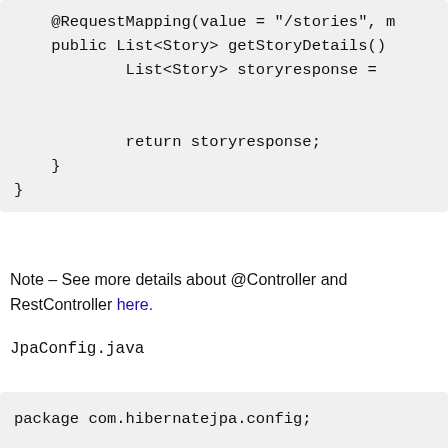[Figure (screenshot): Code block showing Java controller snippet with @RequestMapping, public List<Story> getStoryDetails(), List<Story> storyresponse =, return storyresponse;, closing braces]
Note – See more details about @Controller and RestController here.
JpaConfig.java
[Figure (screenshot): Code block showing Java package declaration: package com.hibernatejpa.config; and two import statements: import org.springframework.context.annotatio... and import org.springframework.data.jpa.reposito...]